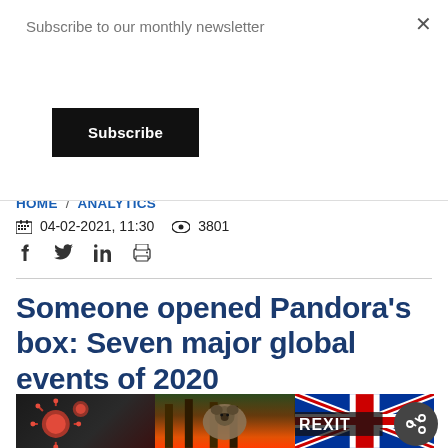Subscribe to our monthly newsletter
Subscribe
HOME / ANALYTICS
04-02-2021, 11:30  3801
Someone opened Pandora's box: Seven major global events of 2020
[Figure (photo): Composite image strip showing coronavirus particles, wildfire with koala, and Brexit flag]